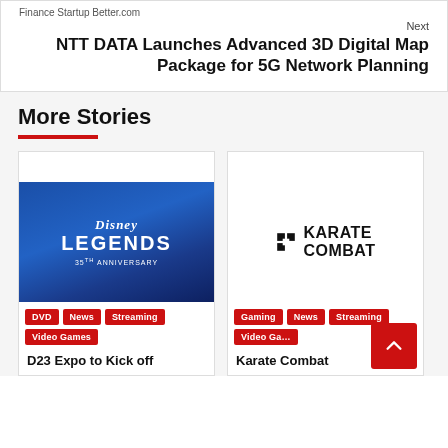Finance Startup Better.com
Next
NTT DATA Launches Advanced 3D Digital Map Package for 5G Network Planning
More Stories
[Figure (photo): Disney Legends 35th Anniversary promotional image with blue starry background]
DVD  News  Streaming  Video Games
D23 Expo to Kick off
[Figure (logo): Karate Combat logo on white background]
Gaming  News  Streaming  Video Ga...
Karate Combat